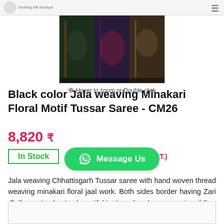[Figure (photo): Product image of colorful sarees displayed on hangers or stand, showing black, green, blue and purple fabric with intricate weaving]
Hover to zoom or Double click
Black color Jala weaving Minakari Floral Motif Tussar Saree - CM26
8,820 ₹
In Stock    (** All prices inclusive of GST.)
Jala weaving Chhattisgarh Tussar saree with hand woven thread weaving minakari floral jaal work. Both sides border having Zari .Pallu section having beautiful intricate hand woven zari w...[ R...
[Figure (screenshot): WhatsApp Message Us button in green]